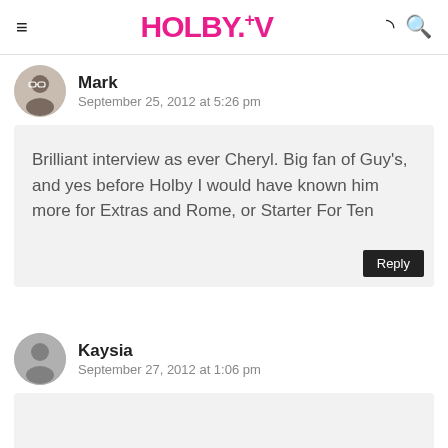HOLBY.TV
Mark
September 25, 2012 at 5:26 pm
Brilliant interview as ever Cheryl. Big fan of Guy's, and yes before Holby I would have known him more for Extras and Rome, or Starter For Ten
Kaysia
September 27, 2012 at 1:06 pm